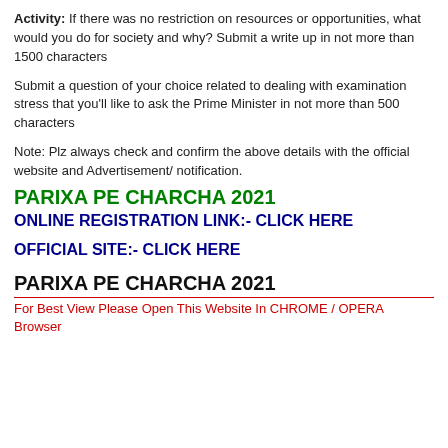Activity: If there was no restriction on resources or opportunities, what would you do for society and why? Submit a write up in not more than 1500 characters
Submit a question of your choice related to dealing with examination stress that you'll like to ask the Prime Minister in not more than 500 characters
Note: Plz always check and confirm the above details with the official website and Advertisement/ notification.
PARIXA PE CHARCHA 2021
ONLINE REGISTRATION LINK:- CLICK HERE
OFFICIAL SITE:- CLICK HERE
PARIXA PE CHARCHA 2021
For Best View Please Open This Website In CHROME / OPERA Browser